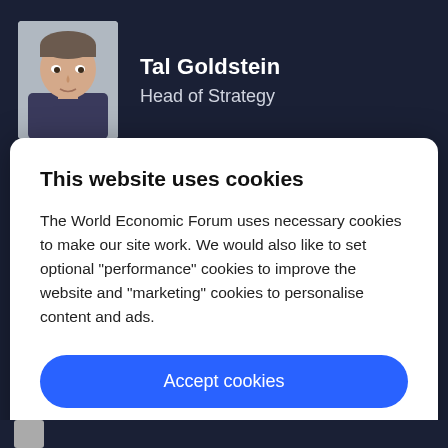[Figure (photo): Headshot photo of Tal Goldstein, a man with short hair, appearing in the top-left area of a dark background profile card]
Tal Goldstein
Head of Strategy
This website uses cookies
The World Economic Forum uses necessary cookies to make our site work. We would also like to set optional “performance” cookies to improve the website and “marketing” cookies to personalise content and ads.
Accept cookies
Reject cookies
Cookie settings